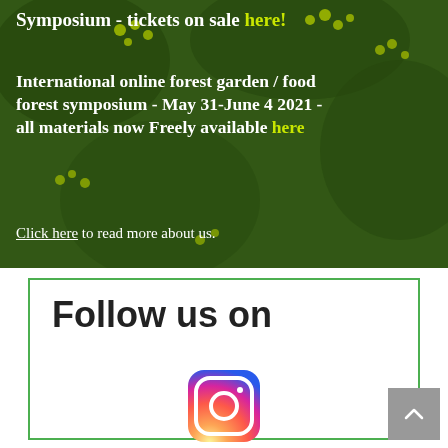[Figure (photo): Green plant background (yellow-green flowering plants) with overlaid text about a forest garden symposium]
Symposium - tickets on sale here!
International online forest garden / food forest symposium - May 31-June 4 2021 - all materials now Freely available here
Click here to read more about us.
Follow us on
[Figure (logo): Instagram logo icon (gradient pink/purple/orange circular camera icon)]